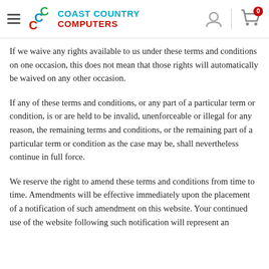Coast Country Computers
If we waive any rights available to us under these terms and conditions on one occasion, this does not mean that those rights will automatically be waived on any other occasion.
If any of these terms and conditions, or any part of a particular term or condition, is or are held to be invalid, unenforceable or illegal for any reason, the remaining terms and conditions, or the remaining part of a particular term or condition as the case may be, shall nevertheless continue in full force.
We reserve the right to amend these terms and conditions from time to time. Amendments will be effective immediately upon the placement of a notification of such amendment on this website. Your continued use of the website following such notification will represent an